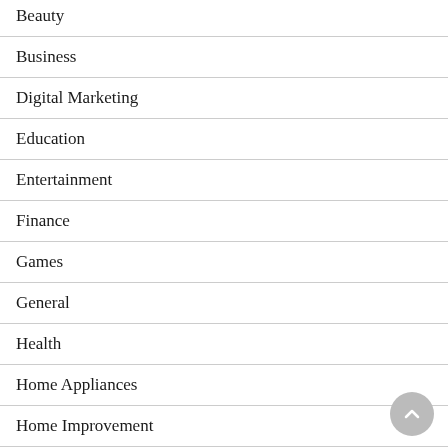Beauty
Business
Digital Marketing
Education
Entertainment
Finance
Games
General
Health
Home Appliances
Home Improvement
Insurance